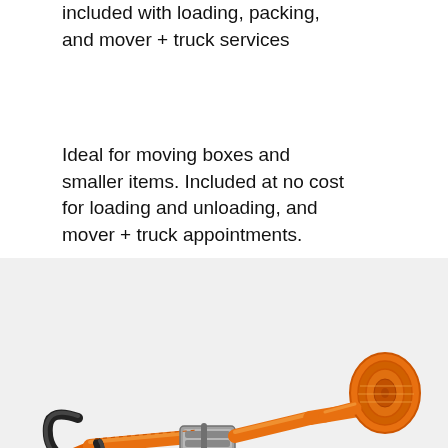included with loading, packing, and mover + truck services
Ideal for moving boxes and smaller items. Included at no cost for loading and unloading, and mover + truck appointments.
[Figure (photo): Orange ratchet tie-down strap with black metal hook on one end, metal ratchet buckle in middle, and rolled orange strap on the right side, photographed on a light gray background.]